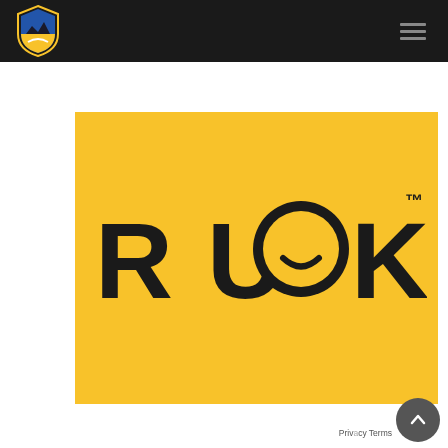[Figure (logo): Carlisle FA football club shield logo in yellow and blue on dark navigation bar]
[Figure (logo): R U OK? campaign logo on yellow background with smiley face incorporated into the letter O]